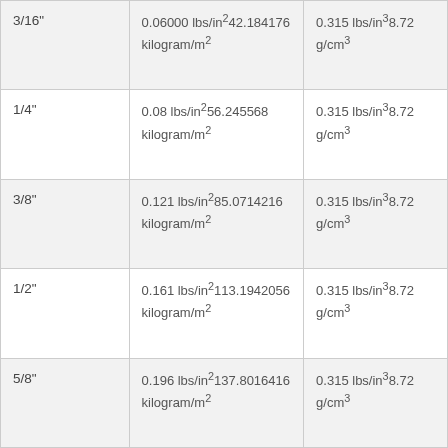| 3/16" | 0.06000 lbs/in²42.184176 kilogram/m² | 0.315 lbs/in³8.72 g/cm³ |
| 1/4" | 0.08 lbs/in²56.245568 kilogram/m² | 0.315 lbs/in³8.72 g/cm³ |
| 3/8" | 0.121 lbs/in²85.0714216 kilogram/m² | 0.315 lbs/in³8.72 g/cm³ |
| 1/2" | 0.161 lbs/in²113.1942056 kilogram/m² | 0.315 lbs/in³8.72 g/cm³ |
| 5/8" | 0.196 lbs/in²137.8016416 kilogram/m² | 0.315 lbs/in³8.72 g/cm³ |